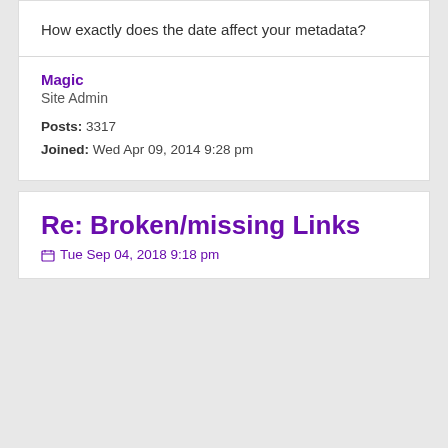How exactly does the date affect your metadata?
Magic
Site Admin
Posts: 3317
Joined: Wed Apr 09, 2014 9:28 pm
Re: Broken/missing Links
Tue Sep 04, 2018 9:18 pm